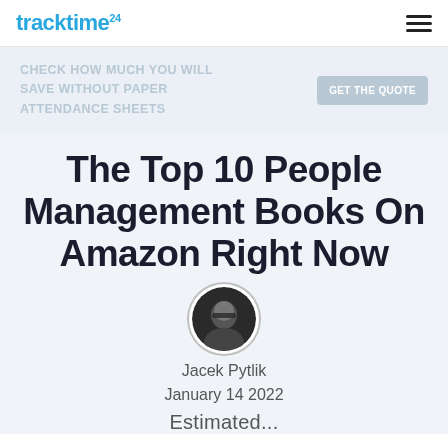tracktime24
[Figure (infographic): Banner advertisement: CHECK HOW MUCH YOU WILL SAVE WITHOUT PAPER ATTENDANCE SHEETS | GET THE QUOTE]
The Top 10 People Management Books On Amazon Right Now
[Figure (photo): Circular author portrait photo of Jacek Pytlik in black and white, man wearing glasses]
Jacek Pytlik
January 14 2022
Estimated...